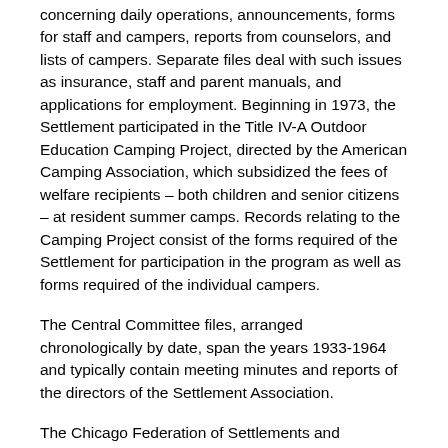concerning daily operations, announcements, forms for staff and campers, reports from counselors, and lists of campers. Separate files deal with such issues as insurance, staff and parent manuals, and applications for employment. Beginning in 1973, the Settlement participated in the Title IV-A Outdoor Education Camping Project, directed by the American Camping Association, which subsidized the fees of welfare recipients – both children and senior citizens – at resident summer camps. Records relating to the Camping Project consist of the forms required of the Settlement for participation in the program as well as forms required of the individual campers.
The Central Committee files, arranged chronologically by date, span the years 1933-1964 and typically contain meeting minutes and reports of the directors of the Settlement Association.
The Chicago Federation of Settlements and Neighborhood Centers records consist of meeting minutes, with some memoranda, correspondence, and reports from the organization, arranged chronologically and covering the years 1927 to 1983. See also files relating to the National Federation of Settlements and Neighborhood Centers 1933 to 1961, which consist of meeting minutes, correspondence, and...